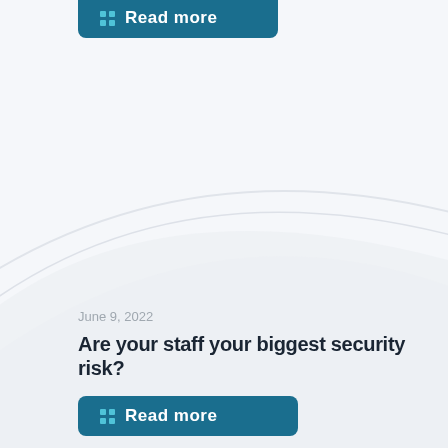[Figure (other): Partially visible teal/blue 'Read more' button with grid icon at top of page, cropped]
[Figure (illustration): Decorative background with light gray wave/arc curves on white/light gray background, spanning the middle portion of the page]
June 9, 2022
Are your staff your biggest security risk?
[Figure (other): Teal 'Read more' button with grid icon at bottom of page]